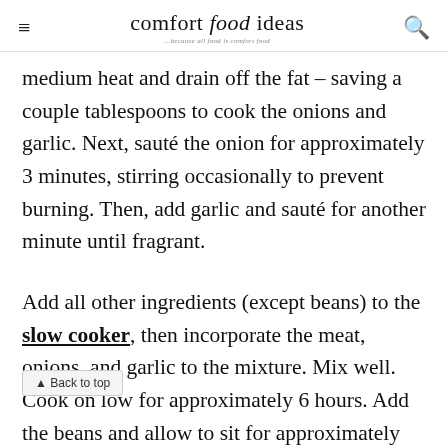comfort food ideas
medium heat and drain off the fat – saving a couple tablespoons to cook the onions and garlic. Next, sauté the onion for approximately 3 minutes, stirring occasionally to prevent burning. Then, add garlic and sauté for another minute until fragrant.
Add all other ingredients (except beans) to the slow cooker, then incorporate the meat, onions, and garlic to the mixture. Mix well. Cook on low for approximately 6 hours. Add the beans and allow to sit for approximately 10 minutes before